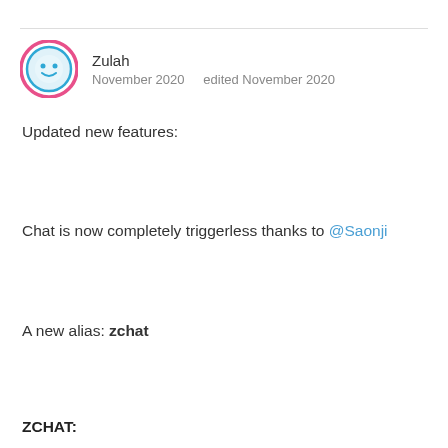Zulah — November 2020 edited November 2020
Updated new features:
Chat is now completely triggerless thanks to @Saonji
A new alias: zchat
ZCHAT:
Will turn the chat window command line on and off.
When activated several chat channels will have their own command line on the bottom to type directly into that chat. You do NOT have to type: pt/ot/ht/hnt/ct/market you can simply click on the channel and type directly.